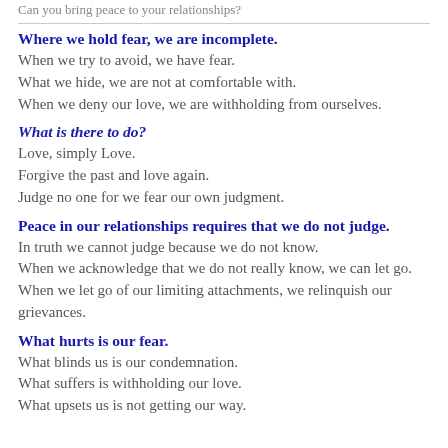Can you bring peace to your relationships?
Where we hold fear, we are incomplete.
When we try to avoid, we have fear.
What we hide, we are not at comfortable with.
When we deny our love, we are withholding from ourselves.
What is there to do?
Love, simply Love.
Forgive the past and love again.
Judge no one for we fear our own judgment.
Peace in our relationships requires that we do not judge.
In truth we cannot judge because we do not know.
When we acknowledge that we do not really know, we can let go.
When we let go of our limiting attachments, we relinquish our grievances.
What hurts is our fear.
What blinds us is our condemnation.
What suffers is withholding our love.
What upsets us is not getting our way.